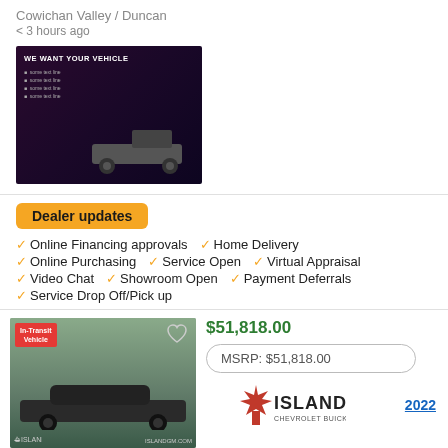Cowichan Valley / Duncan
< 3 hours ago
[Figure (photo): Dark promotional ad image with text 'WE WANT YOUR VEHICLE' and a truck silhouette]
Dealer updates
Online Financing approvals
Home Delivery
Online Purchasing
Service Open
Virtual Appraisal
Video Chat
Showroom Open
Payment Deferrals
Service Drop Off/Pick up
$51,818.00
MSRP: $51,818.00
[Figure (logo): Island Chevrolet Buick GMC EV logo with maple leaf]
2022
Chevrolet Camaro LT1
NEW CAR